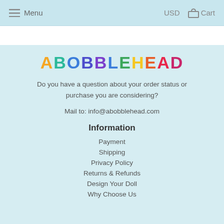Menu   USD   Cart
[Figure (logo): ABOBBLEHEAD colorful logo text]
Do you have a question about your order status or purchase you are considering?
Mail to: info@abobblehead.com
Information
Payment
Shipping
Privacy Policy
Returns & Refunds
Design Your Doll
Why Choose Us